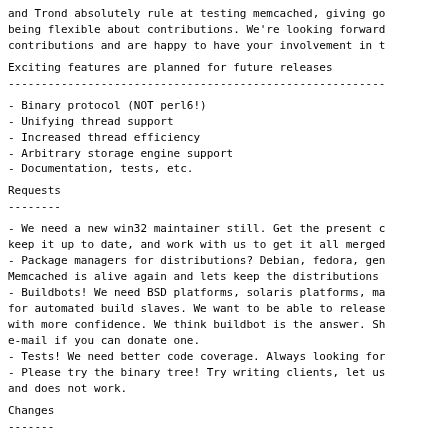and Trond absolutely rule at testing memcached, giving go
being flexible about contributions. We're looking forward
contributions and are happy to have your involvement in t
Exciting features are planned for future releases
---------------------------------------------------------
- Binary protocol (NOT perl6!)
- Unifying thread support
- Increased thread efficiency
- Arbitrary storage engine support
- Documentation, tests, etc.
Requests
--------
- We need a new win32 maintainer still. Get the present c
keep it up to date, and work with us to get it all merged
- Package managers for distributions? Debian, fedora, gen
Memcached is alive again and lets keep the distributions
- Buildbots! We need BSD platforms, solaris platforms, ma
for automated build slaves. We want to be able to release
with more confidence. We think buildbot is the answer. Sh
e-mail if you can donate one.
- Tests! We need better code coverage. Always looking for
- Please try the binary tree! Try writing clients, let us
and does not work.
Changes
-------